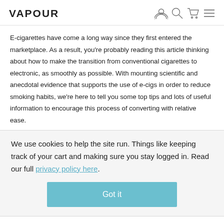VAPOUR
E-cigarettes have come a long way since they first entered the marketplace. As a result, you're probably reading this article thinking about how to make the transition from conventional cigarettes to electronic, as smoothly as possible. With mounting scientific and anecdotal evidence that supports the use of e-cigs in order to reduce smoking habits, we're here to tell you some top tips and lots of useful information to encourage this process of converting with relative ease.
We use cookies to help the site run. Things like keeping track of your cart and making sure you stay logged in. Read our full privacy policy here.
Got it
Chinese e-cigs, the body of device doubles as the battery, where as in